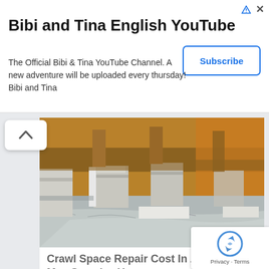[Figure (screenshot): Advertisement banner for 'Bibi and Tina English YouTube' channel with Subscribe button, showing ad icons (triangle and X) in top right corner]
Bibi and Tina English YouTube
The Official Bibi & Tina YouTube Channel. A new adventure will be uploaded every thursday! Bibi and Tina
[Figure (photo): Photo of a crawl space under a house with concrete block piers, wooden beams, and silver/white plastic vapor barrier sheeting on the ground]
Crawl Space Repair Cost In Ashburn May Surprise You
Foundation Crack Repair | Search Ads
[Figure (photo): Partial photo of an orange/ginger tabby cat at the bottom of the page]
[Figure (other): reCAPTCHA privacy badge in the bottom right corner showing the reCAPTCHA logo, Privacy and Terms text]